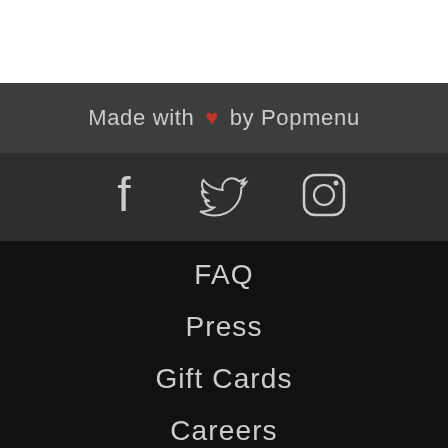Made with ♥ by Popmenu
[Figure (illustration): Social media icons: Facebook, Twitter, Instagram displayed in white outline style on dark gray background]
FAQ
Press
Gift Cards
Careers
Franchise